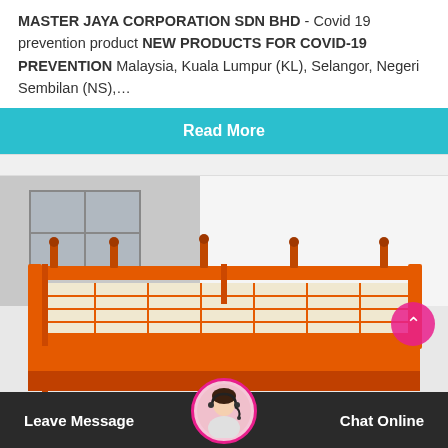MASTER JAYA CORPORATION SDN BHD - Covid 19 prevention product NEW PRODUCTS FOR COVID-19 PREVENTION Malaysia, Kuala Lumpur (KL), Selangor, Negeri Sembilan (NS),…
Read More
[Figure (photo): Orange metal suspended platform / gondola scaffold equipment outdoors against a building wall background]
Leave Message
Chat Online